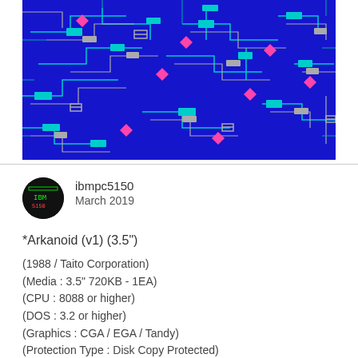[Figure (screenshot): Screenshot of a retro PC game (Arkanoid) showing a blue circuit-board style level with teal, gray, and pink colored block patterns on a dark blue background.]
ibmpc5150
March 2019
*Arkanoid (v1) (3.5")
(1988 / Taito Corporation)
(Media : 3.5" 720KB - 1EA)
(CPU : 8088 or higher)
(DOS : 3.2 or higher)
(Graphics : CGA / EGA / Tandy)
(Protection Type : Disk Copy Protected)
*Disk 1
Volume in drive A has no label